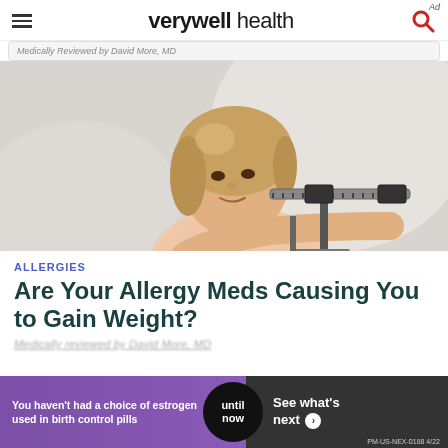verywell health
Medically Reviewed by [Author], MD
[Figure (photo): A woman looking at a medical balance scale, examining her weight. The image has a soft, light background with the woman holding the scale's weight slider.]
ALLERGIES
Are Your Allergy Meds Causing You to Gain Weight?
Medically reviewed by David More, MD
You haven't had a choice of estrogen used in birth control pills until now See what's next PM-US-NEX-0188 4/22